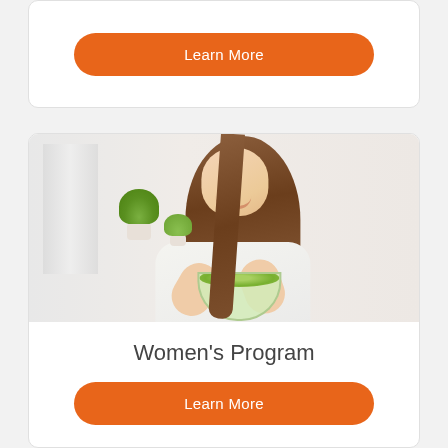Learn More
[Figure (photo): Young woman with long brown hair smiling and eating a salad bowl, light background with plant]
Women's Program
Learn More